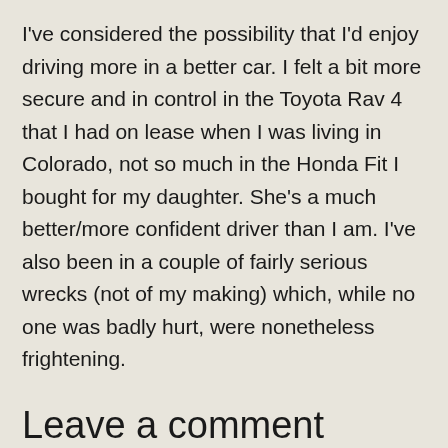I've considered the possibility that I'd enjoy driving more in a better car. I felt a bit more secure and in control in the Toyota Rav 4 that I had on lease when I was living in Colorado, not so much in the Honda Fit I bought for my daughter. She's a much better/more confident driver than I am. I've also been in a couple of fairly serious wrecks (not of my making) which, while no one was badly hurt, were nonetheless frightening.
Leave a comment